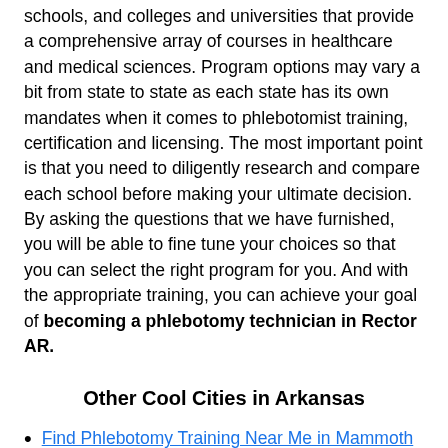schools, and colleges and universities that provide a comprehensive array of courses in healthcare and medical sciences. Program options may vary a bit from state to state as each state has its own mandates when it comes to phlebotomist training, certification and licensing. The most important point is that you need to diligently research and compare each school before making your ultimate decision. By asking the questions that we have furnished, you will be able to fine tune your choices so that you can select the right program for you. And with the appropriate training, you can achieve your goal of becoming a phlebotomy technician in Rector AR.
Other Cool Cities in Arkansas
Find Phlebotomy Training Near Me in Mammoth Spring AR 72554
Find Phlebotomy Training Near Me in Malvern AR